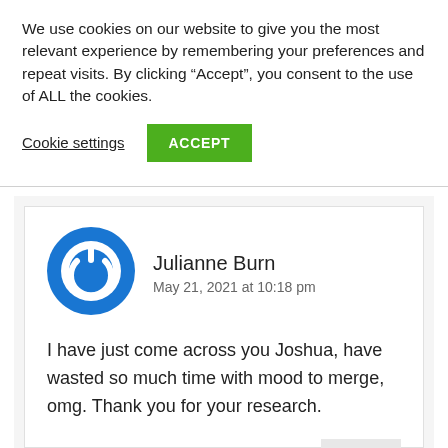We use cookies on our website to give you the most relevant experience by remembering your preferences and repeat visits. By clicking “Accept”, you consent to the use of ALL the cookies.
Cookie settings
ACCEPT
[Figure (illustration): Blue circular power button icon avatar for user Julianne Burn]
Julianne Burn
May 21, 2021 at 10:18 pm
I have just come across you Joshua, have wasted so much time with mood to merge, omg. Thank you for your research.
Reply